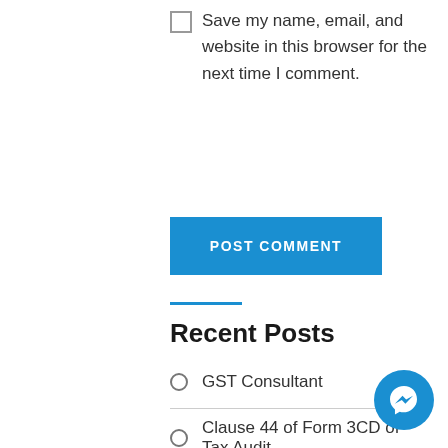Save my name, email, and website in this browser for the next time I comment.
POST COMMENT
Recent Posts
GST Consultant
Clause 44 of Form 3CD of Tax Audit
[Figure (illustration): Facebook Messenger chat button icon, blue circle with white lightning bolt/messenger logo]